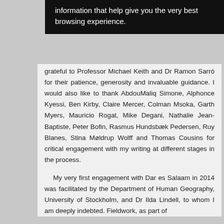[Figure (screenshot): Cookie/browser notification banner with black background and white text reading: 'information that help give you the very best browsing experience.']
grateful to Professor Michael Keith and Dr Ramon Sarró for their patience, generosity and invaluable guidance. I would also like to thank AbdouMaliq Simone, Alphonce Kyessi, Ben Kirby, Claire Mercer, Colman Msoka, Garth Myers, Mauricio Rogat, Mike Degani, Nathalie Jean-Baptiste, Peter Bofin, Rasmus Hundsbæk Pedersen, Ruy Blanes, Stina Møldrup Wolff and Thomas Cousins for critical engagement with my writing at different stages in the process.
My very first engagement with Dar es Salaam in 2014 was facilitated by the Department of Human Geography, University of Stockholm, and Dr Ilda Lindell, to whom I am deeply indebted. Fieldwork, as part of